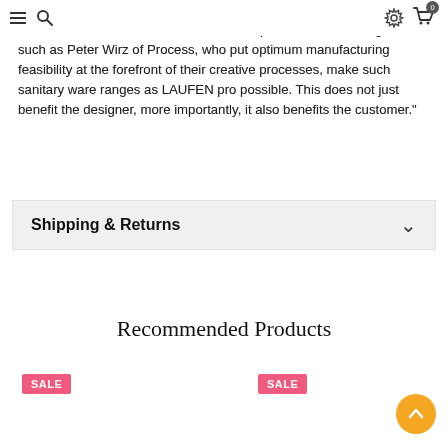Navigation header with hamburger menu, search, settings, and cart icons
design is now no longer a right reserved for the most affluent customers. Modern methods of industrial production and designers such as Peter Wirz of Process, who put optimum manufacturing feasibility at the forefront of their creative processes, make such sanitary ware ranges as LAUFEN pro possible. This does not just benefit the designer, more importantly, it also benefits the customer."
Shipping & Returns
Recommended Products
SALE
SALE